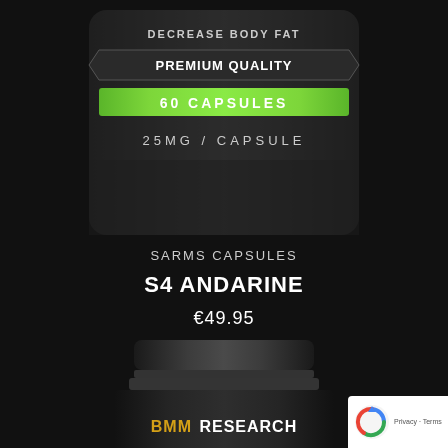[Figure (photo): Top portion of a dark supplement bottle showing green label band with '60 CAPSULES' text, 'PREMIUM QUALITY' text, '25MG / CAPSULE' text, and 'DECREASE BODY FAT' at the top. Brand: BMM Research.]
SARMS CAPSULES
S4 ANDARINE
€49.95
[Figure (photo): Bottom portion of a dark supplement bottle showing the cap/lid and upper body with 'BMM RESEARCH' text in gold/yellow lettering on a dark carbon-fiber textured bottle.]
[Figure (logo): Google reCAPTCHA privacy badge in bottom right corner showing reCAPTCHA logo with 'Privacy - Terms' text.]